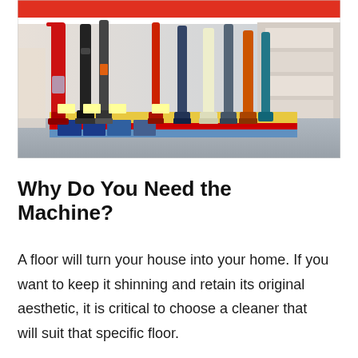[Figure (photo): A retail store display showing multiple upright vacuum cleaners lined up on a shelf/stand. Various brands and colors are visible including red, black, and other colored vacuums. Store shelving and products are visible in the background.]
Why Do You Need the Machine?
A floor will turn your house into your home. If you want to keep it shinning and retain its original aesthetic, it is critical to choose a cleaner that will suit that specific floor.